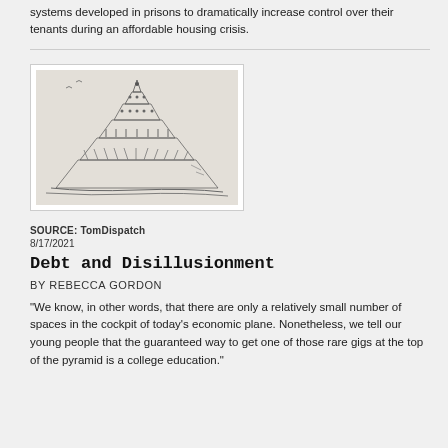systems developed in prisons to dramatically increase control over their tenants during an affordable housing crisis.
[Figure (illustration): Pencil sketch illustration of a multi-tiered pyramid structure with human figures at various levels, resembling a hierarchical or social pyramid drawing.]
SOURCE: TomDispatch
8/17/2021
Debt and Disillusionment
BY REBECCA GORDON
"We know, in other words, that there are only a relatively small number of spaces in the cockpit of today's economic plane. Nonetheless, we tell our young people that the guaranteed way to get one of those rare gigs at the top of the pyramid is a college education."